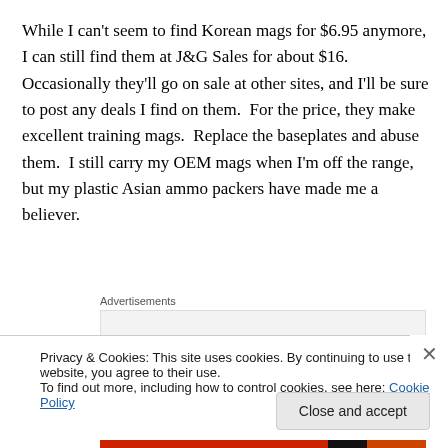While I can't seem to find Korean mags for $6.95 anymore, I can still find them at J&G Sales for about $16.  Occasionally they'll go on sale at other sites, and I'll be sure to post any deals I find on them.  For the price, they make excellent training mags.  Replace the baseplates and abuse them.  I still carry my OEM mags when I'm off the range, but my plastic Asian ammo packers have made me a believer.
Advertisements
Privacy & Cookies: This site uses cookies. By continuing to use this website, you agree to their use.
To find out more, including how to control cookies, see here: Cookie Policy
Close and accept